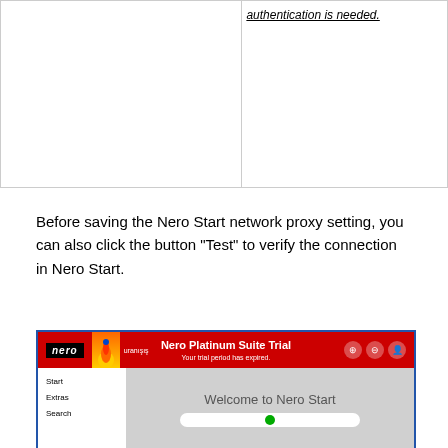|  | authentication is needed. |
Before saving the Nero Start network proxy setting, you can also click the button “Test” to verify the connection in Nero Start.
[Figure (screenshot): Screenshot of Nero Platinum Suite Trial application showing the Nero Start welcome screen with sidebar navigation items: Start, Extras, Search, and a Welcome to Nero Start message in the main content area.]